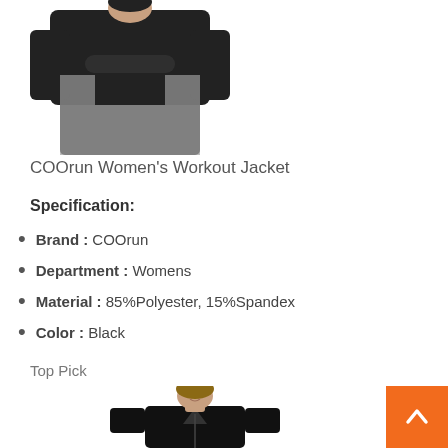[Figure (photo): Woman wearing a black and gray workout jacket, cropped to show torso and arms]
COOrun Women's Workout Jacket
Specification:
Brand : COOrun
Department : Womens
Material : 85%Polyester, 15%Spandex
Color : Black
Top Pick
[Figure (photo): Woman wearing a black zip-up jacket, smiling, shown from shoulders up]